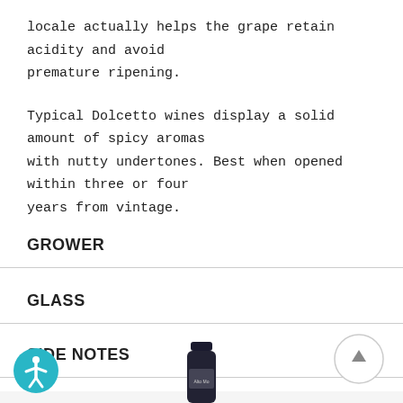locale actually helps the grape retain acidity and avoid premature ripening.
Typical Dolcetto wines display a solid amount of spicy aromas with nutty undertones. Best when opened within three or four years from vintage.
GROWER
GLASS
SIDE NOTES
[Figure (illustration): Scroll-to-top circular button with upward arrow]
[Figure (illustration): Accessibility icon — circular teal badge with person silhouette]
[Figure (photo): Wine bottle partially visible at bottom of page, dark label reading 'Alto Mo...']